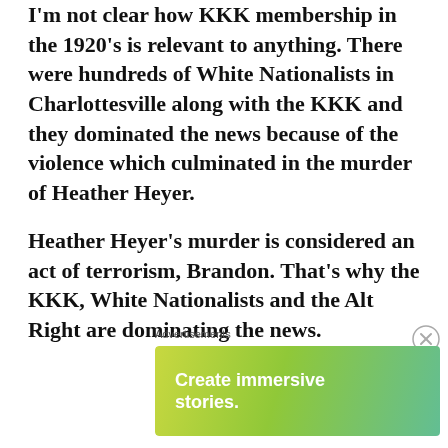I'm not clear how KKK membership in the 1920's is relevant to anything. There were hundreds of White Nationalists in Charlottesville along with the KKK and they dominated the news because of the violence which culminated in the murder of Heather Heyer.
Heather Heyer's murder is considered an act of terrorism, Brandon. That's why the KKK, White Nationalists and the Alt Right are dominating the news.
Advertisements
[Figure (other): WordPress advertisement banner: 'Create immersive stories. GET THE APP' with WordPress logo on gradient background (yellow-green to blue)]